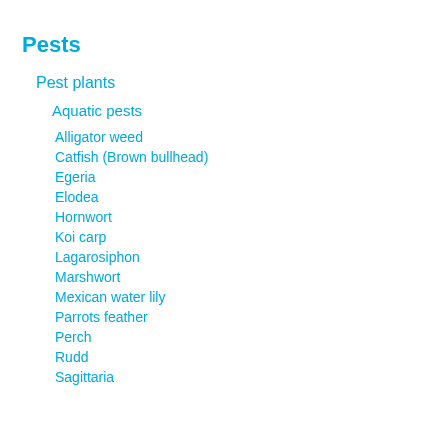Pests
Pest plants
Aquatic pests
Alligator weed
Catfish (Brown bullhead)
Egeria
Elodea
Hornwort
Koi carp
Lagarosiphon
Marshwort
Mexican water lily
Parrots feather
Perch
Rudd
Sagittaria